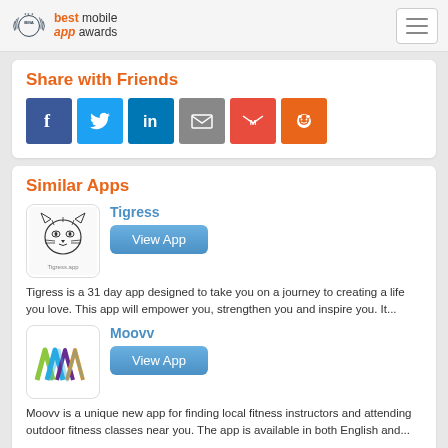best mobile app awards
Share with Friends
[Figure (infographic): Social sharing buttons: Facebook, Twitter, LinkedIn, Email, Gmail, Reddit]
Similar Apps
[Figure (illustration): Tigress app icon - tiger face line drawing with 'Tigress.app' label]
Tigress
View App
Tigress is a 31 day app designed to take you on a journey to creating a life you love. This app will empower you, strengthen you and inspire you. It...
[Figure (logo): Moovv app icon - colorful M logo in green, blue, yellow]
Moovv
View App
Moovv is a unique new app for finding local fitness instructors and attending outdoor fitness classes near you. The app is available in both English and...